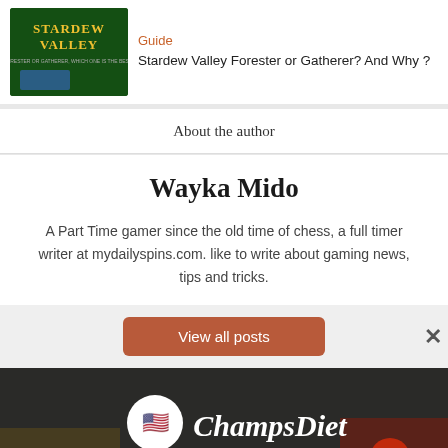[Figure (screenshot): Stardew Valley game cover image with green background and text overlay]
Guide
Stardew Valley Forester or Gatherer? And Why ?
About the author
Wayka Mido
A Part Time gamer since the old time of chess, a full timer writer at mydailyspins.com. like to write about gaming news, tips and tricks.
View all posts
[Figure (illustration): ChampsDiet advertisement banner with logo, FREE RECIPES button, and food imagery including tomatoes, bread, basil, and spaghetti]